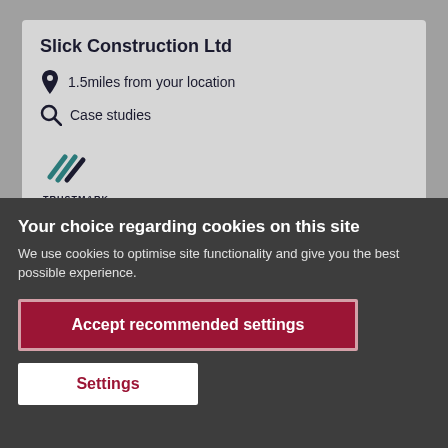Slick Construction Ltd
1.5miles from your location
Case studies
[Figure (logo): Trustmark logo with stylized diagonal lines icon above the text TRUSTMARK]
Your choice regarding cookies on this site
We use cookies to optimise site functionality and give you the best possible experience.
Accept recommended settings
Settings